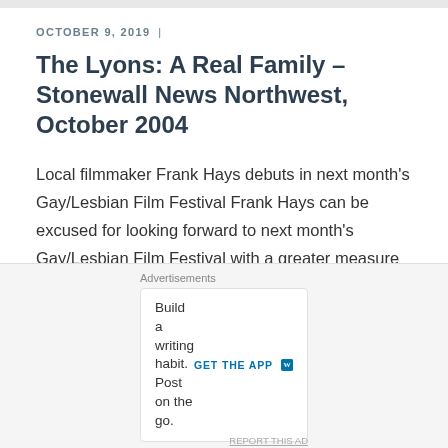OCTOBER 9, 2019  |
The Lyons: A Real Family – Stonewall News Northwest, October 2004
Local filmmaker Frank Hays debuts in next month's Gay/Lesbian Film Festival Frank Hays can be excused for looking forward to next month's Gay/Lesbian Film Festival with a greater measure of anticipation than most festival-goers in the gay community. Hays is the director of a new
Advertisements
Build a writing habit. Post on the go.  GET THE APP